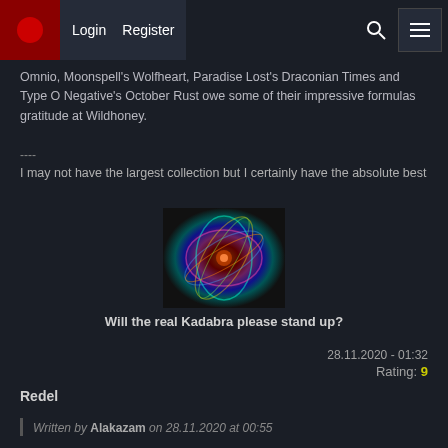Login  Register
Omnio, Moonspell's Wolfheart, Paradise Lost's Draconian Times and Type O Negative's October Rust owe some of their impressive formulas gratitude at Wildhoney.
----
I may not have the largest collection but I certainly have the absolute best
[Figure (photo): Psychedelic abstract image with colorful light patterns on dark background]
Will the real Kadabra please stand up?
28.11.2020 - 01:32
Rating: 9
Redel
Written by Alakazam on 28.11.2020 at 00:55